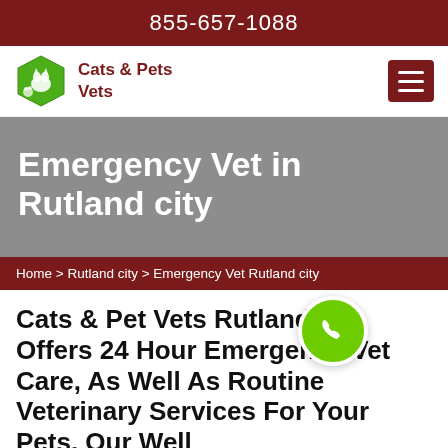855-657-1088
[Figure (logo): Cats & Pets Vets logo: green hexagon with cat silhouette and paw print, with text 'Cats & Pets Vets' in dark red]
Emergency Vet in Rutland city
Home > Rutland city > Emergency Vet Rutland city
Cats & Pet Vets Rutland city Offers 24 Hour Emergency Vet Care, As Well As Routine Veterinary Services For Your Pets. Our Well